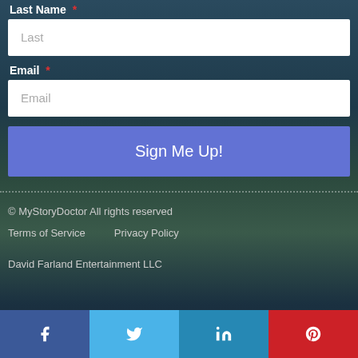Last Name *
Last (input placeholder)
Email *
Email (input placeholder)
Sign Me Up!
© MyStoryDoctor All rights reserved
Terms of Service   Privacy Policy
David Farland Entertainment LLC
[Figure (infographic): Social media share bar with Facebook, Twitter, LinkedIn, Pinterest icons]